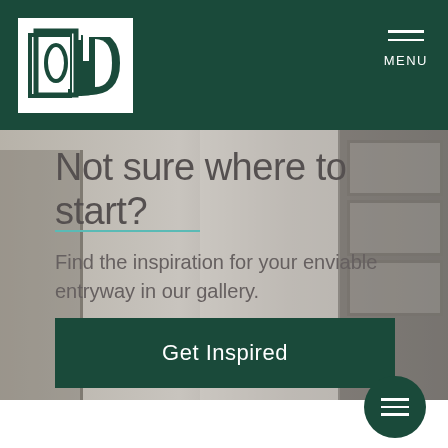[Figure (logo): ODL company logo — white box with teal/dark green ODL lettermark on dark green header bar]
MENU
Not sure where to start?
Find the inspiration for your enviable entryway in our gallery.
[Figure (other): Get Inspired button — dark green rectangle with white text]
[Figure (other): Floating circular menu button — dark green circle with three white horizontal lines]